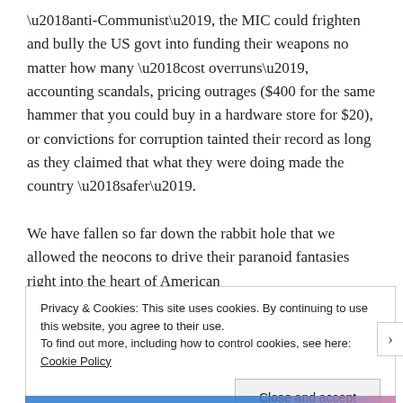‘anti-Communist’, the MIC could frighten and bully the US govt into funding their weapons no matter how many ‘cost overruns’, accounting scandals, pricing outrages ($400 for the same hammer that you could buy in a hardware store for $20), or convictions for corruption tainted their record as long as they claimed that what they were doing made the country ‘safer’.

We have fallen so far down the rabbit hole that we allowed the neocons to drive their paranoid fantasies right into the heart of American
Privacy & Cookies: This site uses cookies. By continuing to use this website, you agree to their use.
To find out more, including how to control cookies, see here: Cookie Policy

Close and accept